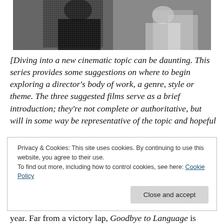[Figure (photo): Black and white photograph showing people, partially cropped at top of page]
[Diving into a new cinematic topic can be daunting. This series provides some suggestions on where to begin exploring a director's body of work, a genre, style or theme. The three suggested films serve as a brief introduction; they're not complete or authoritative, but will in some way be representative of the topic and hopeful
Privacy & Cookies: This site uses cookies. By continuing to use this website, you agree to their use.
To find out more, including how to control cookies, see here: Cookie Policy
year. Far from a victory lap, Goodbye to Language is